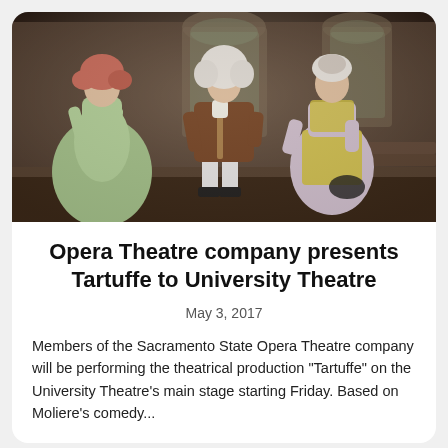[Figure (photo): Three actors in period costumes on a stage set with arched windows. A woman in a light green 18th-century gown sits on the left, a man in a brown ornate coat and white wig stands in the center, and a woman in a yellow apron and floral dress kneels on the right.]
Opera Theatre company presents Tartuffe to University Theatre
May 3, 2017
Members of the Sacramento State Opera Theatre company will be performing the theatrical production "Tartuffe" on the University Theatre's main stage starting Friday. Based on Moliere's comedy...